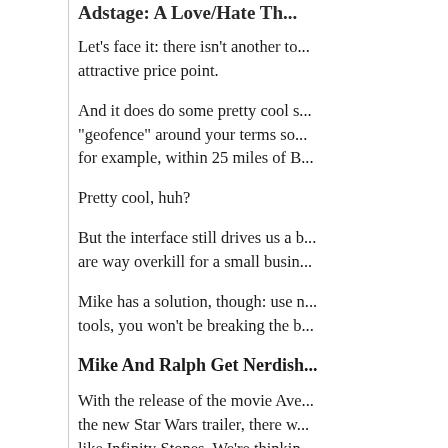Adstage: A Love/Hate Th...
Let's face it: there isn't another to... attractive price point.
And it does do some pretty cool s... "geofence" around your terms so... for example, within 25 miles of B...
Pretty cool, huh?
But the interface still drives us a b... are way overkill for a small busin...
Mike has a solution, though: use n... tools, you won't be breaking the b...
Mike And Ralph Get Nerdish...
With the release of the movie Ave... the new Star Wars trailer, there w... like Infinity Stones. We're thinkin...